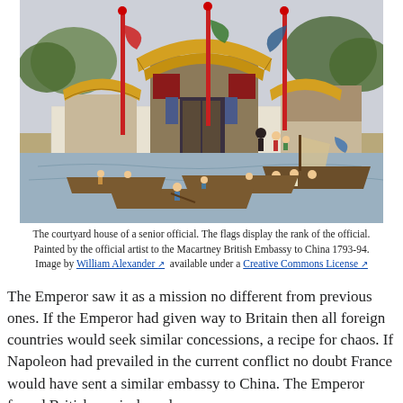[Figure (illustration): A coloured illustration showing a Chinese courtyard house (yamen) of a senior official, with traditional curved golden roofs, red pillars, flags on tall red poles, a white perimeter wall, and several wooden boats with people on a river in the foreground.]
The courtyard house of a senior official. The flags display the rank of the official. Painted by the official artist to the Macartney British Embassy to China 1793-94. Image by William Alexander available under a Creative Commons License
The Emperor saw it as a mission no different from previous ones. If the Emperor had given way to Britain then all foreign countries would seek similar concessions, a recipe for chaos. If Napoleon had prevailed in the current conflict no doubt France would have sent a similar embassy to China. The Emperor feared British reprisals and